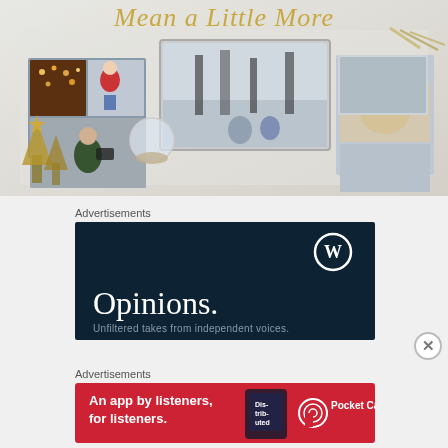[Figure (photo): Holiday photo products advertisement with text 'Mean a Little More' in gold italic font over a winter-themed scene with photo prints, snow globes, and festive decorations]
Advertisements
[Figure (photo): WordPress.com dark navy advertisement showing WordPress logo (W in circle) and text 'Opinions.' in large white serif font]
Advertisements
[Figure (photo): Pocket Casts red banner advertisement: 'An app by listeners, for listeners.' with Pocket Casts logo and phone showing 'Distributed' podcast]